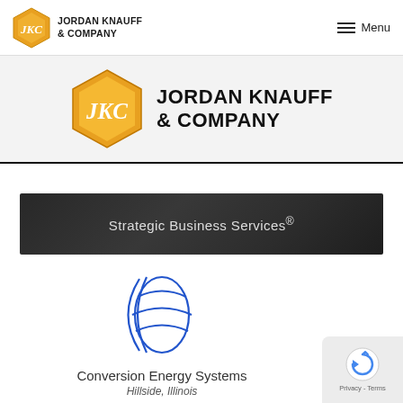[Figure (logo): Jordan Knauff & Company logo in top navigation bar - gold hexagon with JKC text and company name]
[Figure (logo): Jordan Knauff & Company large banner logo - gold hexagon with JKC text and JORDAN KNAUFF & COMPANY text]
Strategic Business Services®
[Figure (logo): Conversion Energy Systems logo - abstract blue globe/sphere shape made of curved lines]
Conversion Energy Systems
Hillside, Illinois